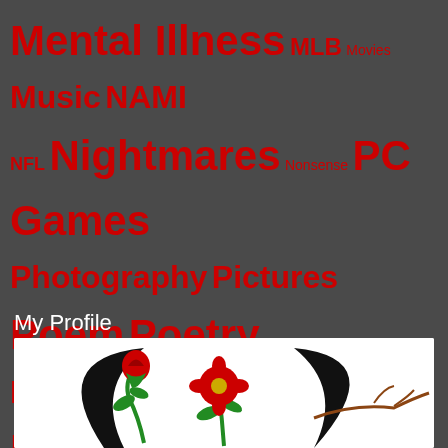[Figure (infographic): Tag cloud with various topics in red on dark background, varying font sizes indicating frequency/importance. Tags include: Mental Illness, MLB, Movies, Music, NAMI, NFL, Nightmares, Nonsense, PC Games, Photography, Pictures, Poem, Poetry, Politics, Pride, Real-Time Strategy, Relationships, RTS, Sacramento, Schizoaffective, Schizophrenia, Self, Sex, Society, Suicide, Thoughts, Trauma, Volunteer, Work]
My Profile
[Figure (illustration): Illustration/logo showing red roses with green stems and thorns, black crescent/arc shapes on a white background]